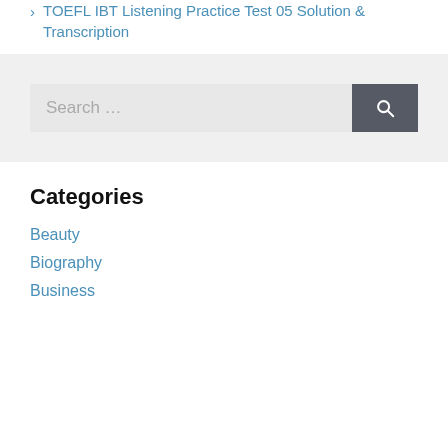> TOEFL IBT Listening Practice Test 05 Solution & Transcription
[Figure (screenshot): Search bar with text 'Search ...' and a dark grey search button with magnifying glass icon]
Categories
Beauty
Biography
Business